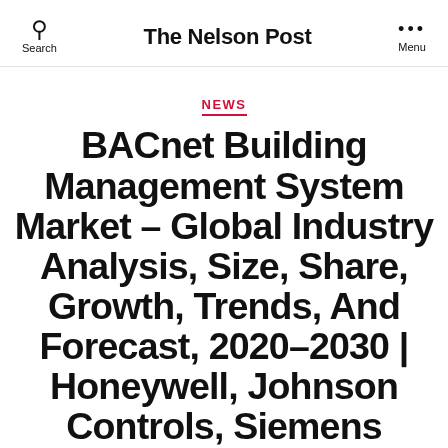The Nelson Post
NEWS
BACnet Building Management System Market – Global Industry Analysis, Size, Share, Growth, Trends, And Forecast, 2020–2030 | Honeywell, Johnson Controls, Siemens